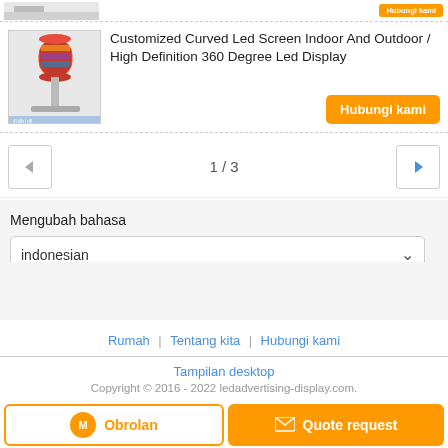[Figure (screenshot): Partial product listing at top with thumbnail image and orange button (cropped)]
Customized Curved Led Screen Indoor And Outdoor / High Definition 360 Degree Led Display
Hubungi kami
1 / 3
Mengubah bahasa
indonesian
Rumah | Tentang kita | Hubungi kami
Tampilan desktop
Copyright © 2016 - 2022 ledadvertising-display.com. All rights reserved.
Obrolan
Quote request